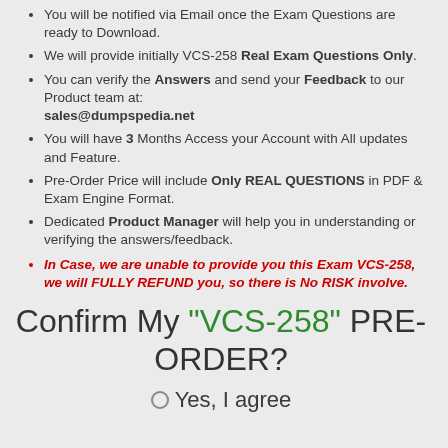You will be notified via Email once the Exam Questions are ready to Download.
We will provide initially VCS-258 Real Exam Questions Only.
You can verify the Answers and send your Feedback to our Product team at: sales@dumpspedia.net
You will have 3 Months Access your Account with All updates and Feature.
Pre-Order Price will include Only REAL QUESTIONS in PDF & Exam Engine Format.
Dedicated Product Manager will help you in understanding or verifying the answers/feedback.
In Case, we are unable to provide you this Exam VCS-258, we will FULLY REFUND you, so there is No RISK involve.
Confirm My "VCS-258" PRE-ORDER?
Yes, I agree